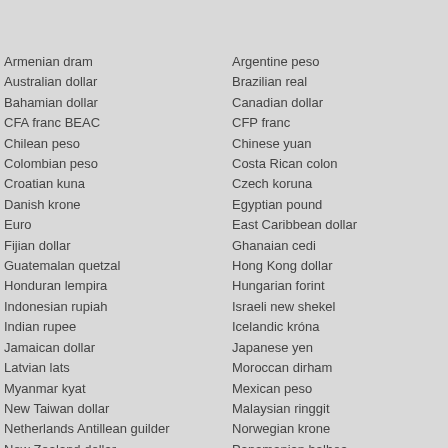Armenian dram
Australian dollar
Bahamian dollar
CFA franc BEAC
Chilean peso
Colombian peso
Croatian kuna
Danish krone
Euro
Fijian dollar
Guatemalan quetzal
Honduran lempira
Indonesian rupiah
Indian rupee
Jamaican dollar
Latvian lats
Myanmar kyat
New Taiwan dollar
Netherlands Antillean guilder
New Zealand dollar
Peruvian nuevo sol
Pakistani rupee
Pound sterling
Argentine peso
Brazilian real
Canadian dollar
CFP franc
Chinese yuan
Costa Rican colon
Czech koruna
Egyptian pound
East Caribbean dollar
Ghanaian cedi
Hong Kong dollar
Hungarian forint
Israeli new shekel
Icelandic króna
Japanese yen
Moroccan dirham
Mexican peso
Malaysian ringgit
Norwegian krone
Panamanian balboa
Philippine peso
Polish złoty
Romanian new leu